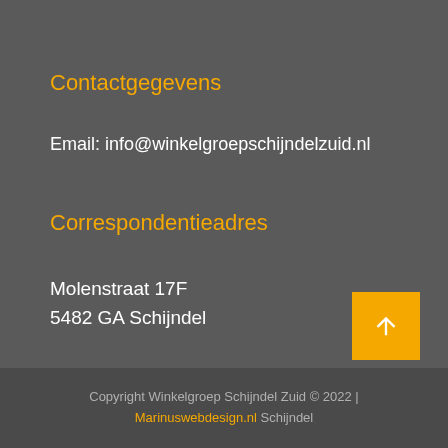Contactgegevens
Email: info@winkelgroepschijndelzuid.nl
Correspondentieadres
Molenstraat 17F
5482 GA Schijndel
Copyright Winkelgroep Schijndel Zuid © 2022 | Marinuswebdesign.nl Schijndel